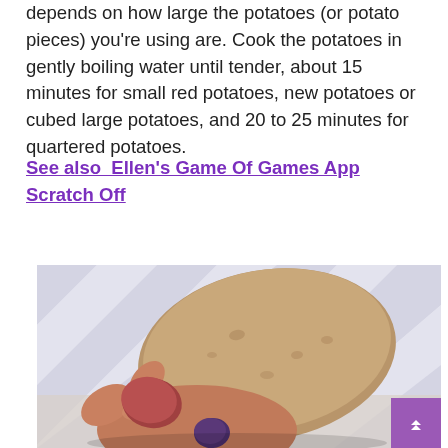depends on how large the potatoes (or potato pieces) you're using are. Cook the potatoes in gently boiling water until tender, about 15 minutes for small red potatoes, new potatoes or cubed large potatoes, and 20 to 25 minutes for quartered potatoes.
See also  Ellen's Game Of Games App Scratch Off
[Figure (photo): A hand holding multiple potatoes of different types — a large russet potato, a small red potato, and a small purple potato — against a striped blue and white fabric background.]